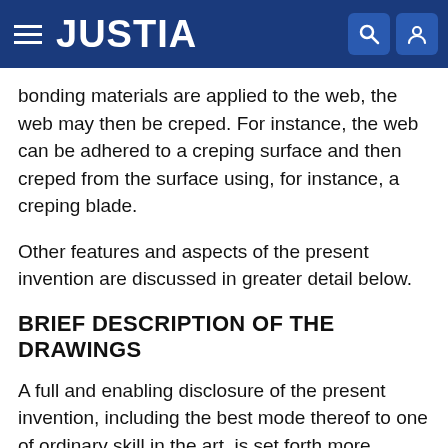JUSTIA
bonding materials are applied to the web, the web may then be creped. For instance, the web can be adhered to a creping surface and then creped from the surface using, for instance, a creping blade.
Other features and aspects of the present invention are discussed in greater detail below.
BRIEF DESCRIPTION OF THE DRAWINGS
A full and enabling disclosure of the present invention, including the best mode thereof to one of ordinary skill in the art, is set forth more particularly in the remainder of the specification, including reference to the accompanying figures in which:
FIG. 1 is a schematic diagram of a fibrous web forming machine illustrating one embodiment for forming a base